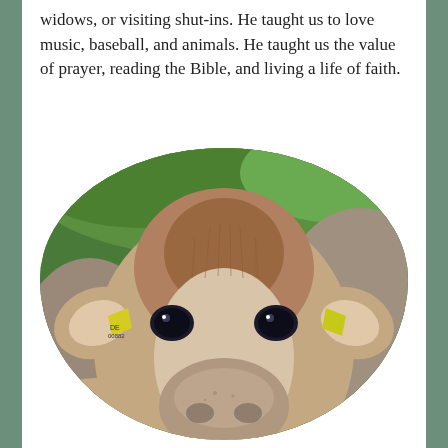widows, or visiting shut-ins. He taught us to love music, baseball, and animals. He taught us the value of prayer, reading the Bible, and living a life of faith.
[Figure (photo): Close-up photograph of a Jersey cow facing the camera, with yellow ear tags, brown and white coloring, displayed in a rounded arch-shaped frame.]